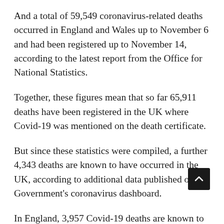And a total of 59,549 coronavirus-related deaths occurred in England and Wales up to November 6 and had been registered up to November 14, according to the latest report from the Office for National Statistics.
Together, these figures mean that so far 65,911 deaths have been registered in the UK where Covid-19 was mentioned on the death certificate.
But since these statistics were compiled, a further 4,343 deaths are known to have occurred in the UK, according to additional data published on the Government's coronavirus dashboard.
In England, 3,957 Covid-19 deaths are known to have taken place between November 7 and 19, with 262 in